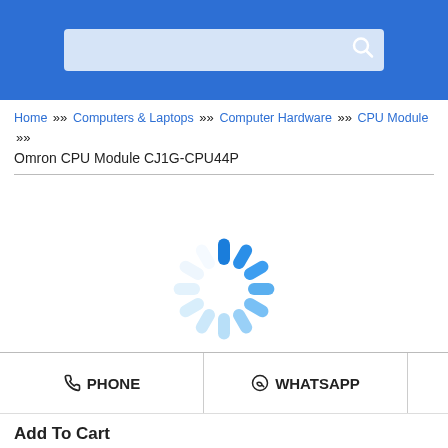[Figure (screenshot): Blue header bar with a search input box and search icon]
Home » Computers & Laptops » Computer Hardware » CPU Module »
Omron CPU Module CJ1G-CPU44P
[Figure (other): Loading spinner animation — circular arrangement of blue rounded bars fading from dark blue to light blue]
PHONE
WHATSAPP
Add To Cart